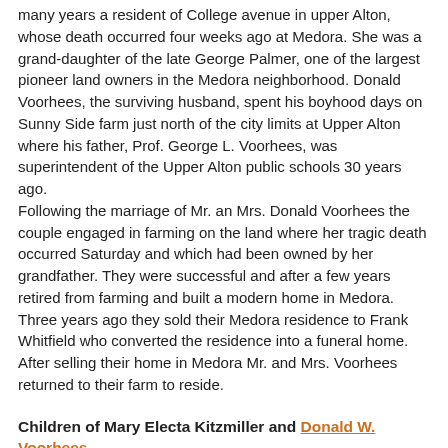many years a resident of College avenue in upper Alton, whose death occurred four weeks ago at Medora. She was a grand-daughter of the late George Palmer, one of the largest pioneer land owners in the Medora neighborhood. Donald Voorhees, the surviving husband, spent his boyhood days on Sunny Side farm just north of the city limits at Upper Alton where his father, Prof. George L. Voorhees, was superintendent of the Upper Alton public schools 30 years ago.
Following the marriage of Mr. an Mrs. Donald Voorhees the couple engaged in farming on the land where her tragic death occurred Saturday and which had been owned by her grandfather. They were successful and after a few years retired from farming and built a modern home in Medora. Three years ago they sold their Medora residence to Frank Whitfield who converted the residence into a funeral home. After selling their home in Medora Mr. and Mrs. Voorhees returned to their farm to reside.
Children of Mary Electa Kitzmiller and Donald W. Voorhees
Sylvia Palmer Voorhees b. 2 Jul 1908, d. 21 Aug 1909
George R. Voorhees+ b. 13 Dec 1919, d. 13 Nov 2011